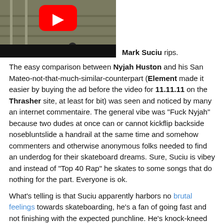[Figure (screenshot): YouTube video thumbnail showing a skate video with a YouTube play button overlay, set against a dark bar at the bottom]
Mark Suciu rips.
The easy comparison between Nyjah Huston and his San Mateo-not-that-much-similar-counterpart (Element made it easier by buying the ad before the video for 11.11.11 on the Thrasher site, at least for bit) was seen and noticed by many an internet commentaire. The general vibe was "Fuck Nyjah" because two dudes at once can or cannot kickflip backside nosebluntslide a handrail at the same time and somehow commenters and otherwise anonymous folks needed to find an underdog for their skateboard dreams. Sure, Suciu is vibey and instead of "Top 40 Rap" he skates to some songs that do nothing for the part. Everyone is ok.
What's telling is that Suciu apparently harbors no brutal feelings towards skateboarding, he's a fan of going fast and not finishing with the expected punchline. He's knock-kneed to the extent that he skates as a shortish dude at the rate of a tall one.